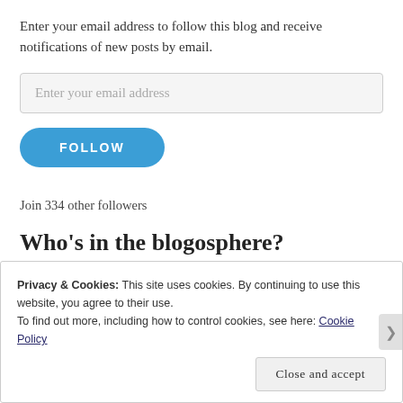Enter your email address to follow this blog and receive notifications of new posts by email.
[Figure (other): Email address input field with placeholder text 'Enter your email address']
[Figure (other): Blue pill-shaped FOLLOW button]
Join 334 other followers
Who’s in the blogosphere?
Privacy & Cookies: This site uses cookies. By continuing to use this website, you agree to their use.
To find out more, including how to control cookies, see here: Cookie Policy
Close and accept